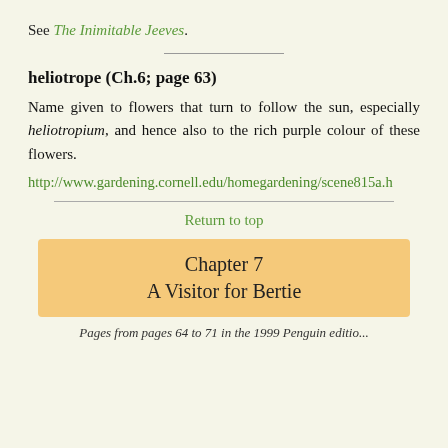See The Inimitable Jeeves.
heliotrope (Ch.6; page 63)
Name given to flowers that turn to follow the sun, especially heliotropium, and hence also to the rich purple colour of these flowers.
http://www.gardening.cornell.edu/homegardening/scene815a.h
Return to top
Chapter 7
A Visitor for Bertie
Pages from pages 64 to 71 in the 1999 Penguin edition...